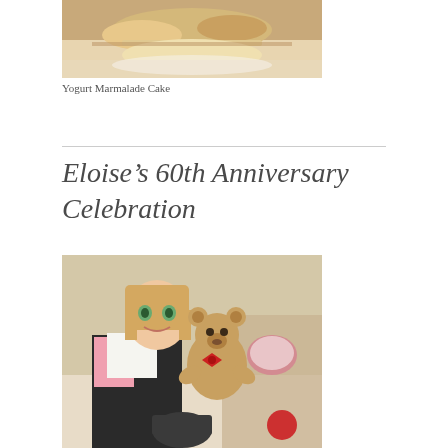[Figure (photo): Photo of yogurt marmalade cake slices on a plate, close-up view]
Yogurt Marmalade Cake
Eloise’s 60th Anniversary Celebration
[Figure (photo): Photo of a doll with blonde hair holding a teddy bear with a red bow, surrounded by party items on a table]